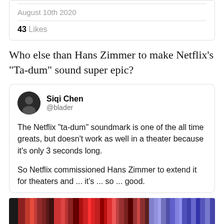August 10th 2020
43 Likes
Who else than Hans Zimmer to make Netflix's "Ta-dum" sound super epic?
Siqi Chen @blader
The Netflix "ta-dum" soundmark is one of the all time greats, but doesn't work as well in a theater because it's only 3 seconds long.

So Netflix commissioned Hans Zimmer to extend it for theaters and ... it's ... so ... good.
[Figure (photo): Colorful vertical stripe image at the bottom of the page]